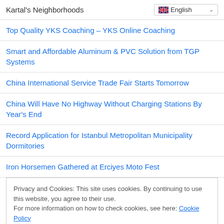Kartal's Neighborhoods
Top Quality YKS Coaching – YKS Online Coaching
Smart and Affordable Aluminum & PVC Solution from TGP Systems
China International Service Trade Fair Starts Tomorrow
China Will Have No Highway Without Charging Stations By Year's End
Record Application for Istanbul Metropolitan Municipality Dormitories
Iron Horsemen Gathered at Erciyes Moto Fest
Privacy and Cookies: This site uses cookies. By continuing to use this website, you agree to their use.
For more information on how to check cookies, see here: Cookie Policy
Kalkan Places to Stay